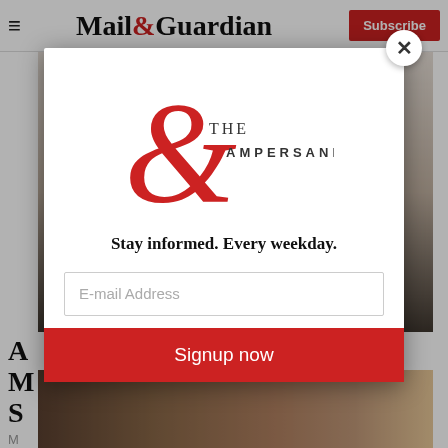Mail&Guardian | Subscribe
[Figure (photo): Man in suit smiling, headshot photo behind modal overlay]
A M S
M
[Figure (screenshot): Modal popup with The Ampersand newsletter logo, tagline 'Stay informed. Every weekday.', email input field, and Signup now button]
Stay informed. Every weekday.
E-mail Address
Signup now